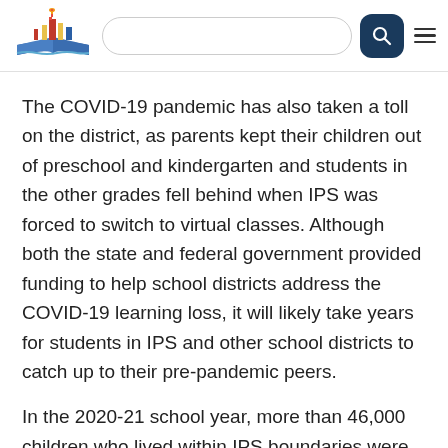[Logo] [Search bar] [Search button] [Menu]
The COVID-19 pandemic has also taken a toll on the district, as parents kept their children out of preschool and kindergarten and students in the other grades fell behind when IPS was forced to switch to virtual classes. Although both the state and federal government provided funding to help school districts address the COVID-19 learning loss, it will likely take years for students in IPS and other school districts to catch up to their pre-pandemic peers.
In the 2020-21 school year, more than 46,000 children who lived within IPS boundaries were receiving a state-funded K-12 education. Approximately 2/3 of those students...